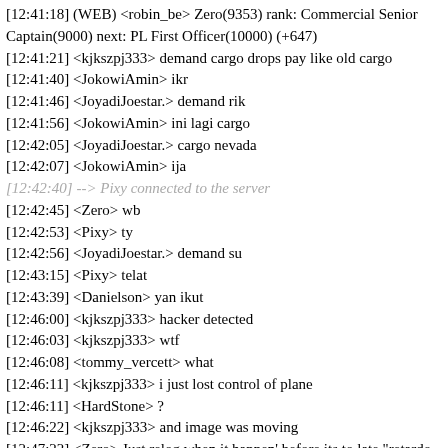[12:41:18] (WEB) <robin_be> Zero(9353) rank: Commercial Senior Captain(9000) next: PL First Officer(10000) (+647)
[12:41:21] <kjkszpj333> demand cargo drops pay like old cargo
[12:41:40] <JokowiAmin> ikr
[12:41:46] <JoyadiJoestar.> demand rik
[12:41:56] <JokowiAmin> ini lagi cargo
[12:42:05] <JoyadiJoestar.> cargo nevada
[12:42:07] <JokowiAmin> ija
[12:42:40] --> Pixy connected to the server
[12:42:45] <Zero> wb
[12:42:53] <Pixy> ty
[12:42:56] <JoyadiJoestar.> demand su
[12:43:15] <Pixy> telat
[12:43:39] <Danielson> yan ikut
[12:46:00] <kjkszpj333> hacker detected
[12:46:03] <kjkszpj333> wtf
[12:46:08] <tommy_vercett> what
[12:46:11] <kjkszpj333> i just lost control of plane
[12:46:11] <HardStone> ?
[12:46:22] <kjkszpj333> and image was moving
[12:47:22] <Zero> Just relog when it happen' before its to late "retardo is watching"
[12:47:41] <tommy_vercett> just get lots of f8 screenshots as evidence
[12:49:29] <-- kjkszpj333 disconnected from the server